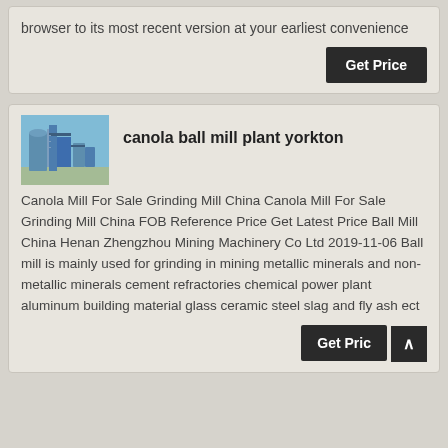browser to its most recent version at your earliest convenience
Get Price
[Figure (photo): Industrial ball mill plant equipment with blue machinery and silos against blue sky]
canola ball mill plant yorkton
Canola Mill For Sale Grinding Mill China Canola Mill For Sale Grinding Mill China FOB Reference Price Get Latest Price Ball Mill China Henan Zhengzhou Mining Machinery Co Ltd 2019-11-06 Ball mill is mainly used for grinding in mining metallic minerals and non-metallic minerals cement refractories chemical power plant aluminum building material glass ceramic steel slag and fly ash ect
Get Price